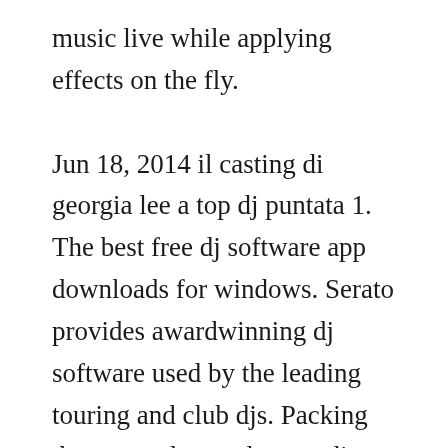music live while applying effects on the fly.

Jun 18, 2014 il casting di georgia lee a top dj puntata 1. The best free dj software app downloads for windows. Serato provides awardwinning dj software used by the leading touring and club djs. Packing the most advanced smart dj technology, and intuitive features, virtualdj is easy to learn and master for any starter dj. Ddjergo supports the latest dj software crossdj and cross from mixvibes. An extraordinary tool to make incredible mixes, that also lets you scratch them